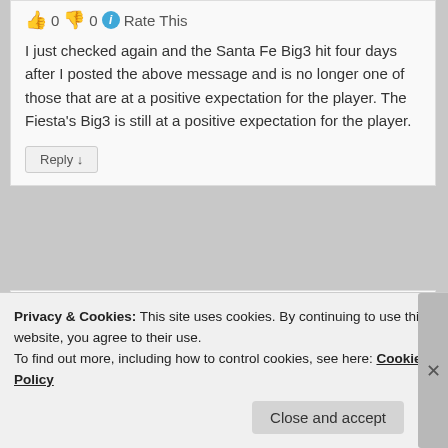👍 0 👎 0 ℹ Rate This
I just checked again and the Santa Fe Big3 hit four days after I posted the above message and is no longer one of those that are at a positive expectation for the player. The Fiesta's Big3 is still at a positive expectation for the player.
Reply ↓
[Figure (illustration): User avatar: angry purple hexagonal face emoji/illustration]
Privacy & Cookies: This site uses cookies. By continuing to use this website, you agree to their use.
To find out more, including how to control cookies, see here: Cookie Policy
Close and accept